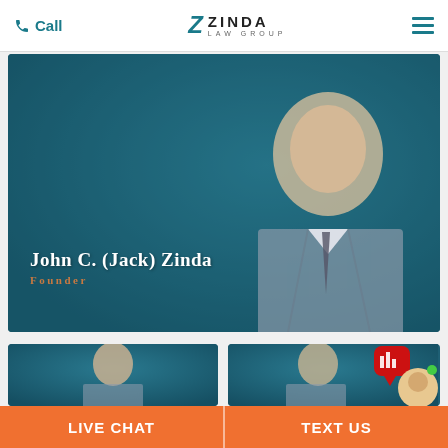Call | ZINDA LAW GROUP | (menu)
[Figure (photo): Professional headshot of John C. (Jack) Zinda, founder of Zinda Law Group, wearing a grey suit and striped tie, against a dark teal background. Name and title overlaid in white/orange text.]
John C. (Jack) Zinda
Founder
[Figure (photo): Professional headshot of a young male attorney smiling, against a dark teal background.]
[Figure (photo): Professional headshot of a male attorney, against a dark teal background. A live chat widget with a female customer service representative is overlaid in the bottom right corner.]
LIVE CHAT
TEXT US